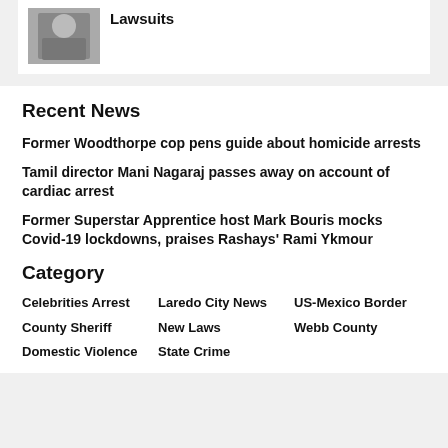[Figure (photo): Photo of a person in a suit, partially visible, black and white or dark tones]
Lawsuits
Recent News
Former Woodthorpe cop pens guide about homicide arrests
Tamil director Mani Nagaraj passes away on account of cardiac arrest
Former Superstar Apprentice host Mark Bouris mocks Covid-19 lockdowns, praises Rashays' Rami Ykmour
Category
Celebrities Arrest
Laredo City News
US-Mexico Border
County Sheriff
New Laws
Webb County
Domestic Violence
State Crime